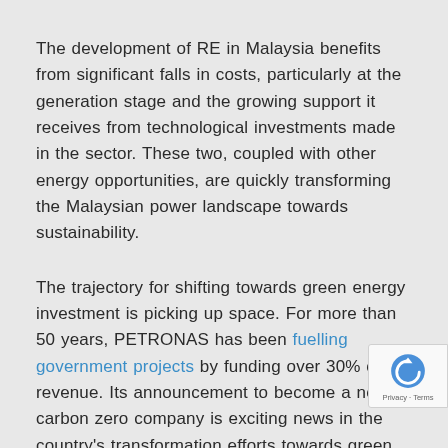The development of RE in Malaysia benefits from significant falls in costs, particularly at the generation stage and the growing support it receives from technological investments made in the sector. These two, coupled with other energy opportunities, are quickly transforming the Malaysian power landscape towards sustainability.
The trajectory for shifting towards green energy investment is picking up space. For more than 50 years, PETRONAS has been fuelling government projects by funding over 30% of its revenue. Its announcement to become a net carbon zero company is exciting news in the country's transformation efforts towards green financing of 2050.
PETRONAS completed its first 10MW solar farm project